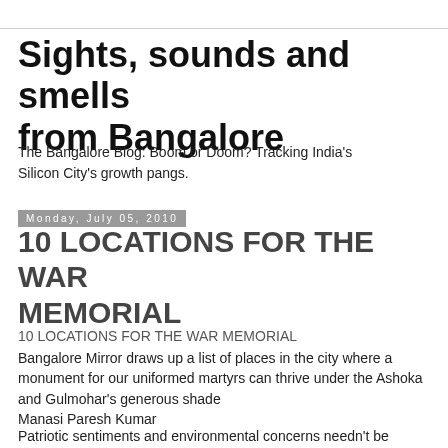Sights, sounds and smells from Bangalore
The Bangalore Blog: Boom or Doom? Tracking India's Silicon City's growth pangs.
Monday, July 05, 2010
10 LOCATIONS FOR THE WAR MEMORIAL
10 LOCATIONS FOR THE WAR MEMORIAL
Bangalore Mirror draws up a list of places in the city where a monument for our uniformed martyrs can thrive under the Ashoka and Gulmohar's generous shade
Manasi Paresh Kumar
Patriotic sentiments and environmental concerns needn't be